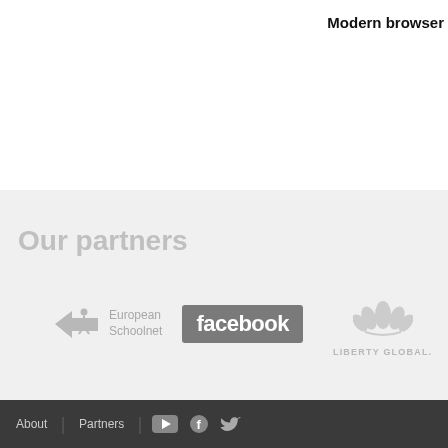Modern browser
Our partners
[Figure (logo): European Schoolnet logo - star/arrow icon with 'European Schoolnet' text in grey]
[Figure (logo): Facebook logo - white 'facebook' text on dark grey rounded rectangle]
[Figure (logo): Liberty Global logo - stylized lotus/globe flower icon above 'LIBERTY GLOBAL.' text in grey]
About | Partners | YouTube | Facebook | Twitter